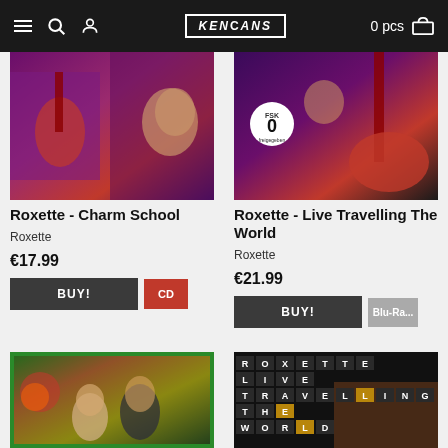KENFANS — 0 pcs
[Figure (photo): Album/DVD cover for Roxette - Charm School showing band members performing on stage with purple and red tones]
Roxette - Charm School
Roxette
€17.99
BUY!  CD
[Figure (photo): DVD cover for Roxette - Live Travelling The World showing guitarist performing, with FSK 0 badge]
Roxette - Live Travelling The World
Roxette
€21.99
BUY!  Blu-Ra...
[Figure (photo): Album cover with colorful Joyride-era Roxette imagery, green red and gold tones]
[Figure (photo): Roxette Live Travelling The World Blu-ray cover with dark background and tiled letter text spelling out ROXETTE LIVE TRAVELLING THE WORLD]